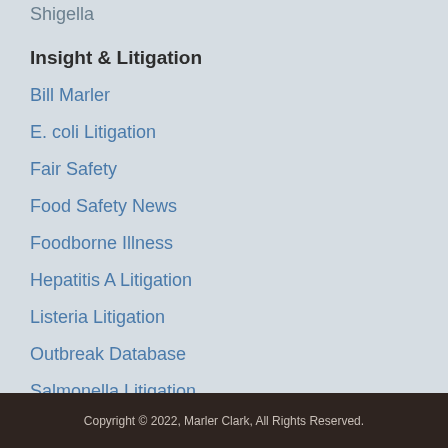Shigella
Insight & Litigation
Bill Marler
E. coli Litigation
Fair Safety
Food Safety News
Foodborne Illness
Hepatitis A Litigation
Listeria Litigation
Outbreak Database
Salmonella Litigation
Copyright © 2022, Marler Clark, All Rights Reserved.